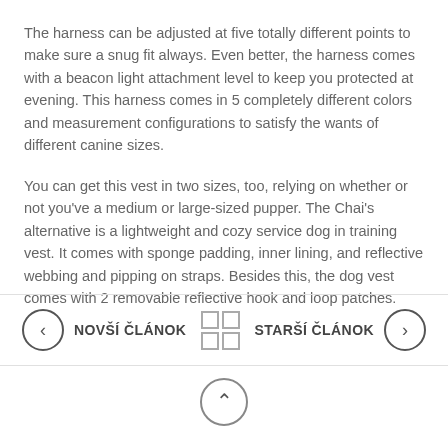The harness can be adjusted at five totally different points to make sure a snug fit always. Even better, the harness comes with a beacon light attachment level to keep you protected at evening. This harness comes in 5 completely different colors and measurement configurations to satisfy the wants of different canine sizes.
You can get this vest in two sizes, too, relying on whether or not you've a medium or large-sized pupper. The Chai's alternative is a lightweight and cozy service dog in training vest. It comes with sponge padding, inner lining, and reflective webbing and pipping on straps. Besides this, the dog vest comes with 2 removable reflective hook and loop patches.
< NOVŠÍ ČLÁNOK  [grid]  STARŠÍ ČLÁNOK >